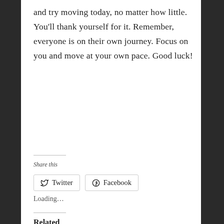and try moving today, no matter how little. You'll thank yourself for it. Remember, everyone is on their own journey. Focus on you and move at your own pace. Good luck!
Share this
[Figure (screenshot): Twitter and Facebook share buttons with icons]
Loading…
Related